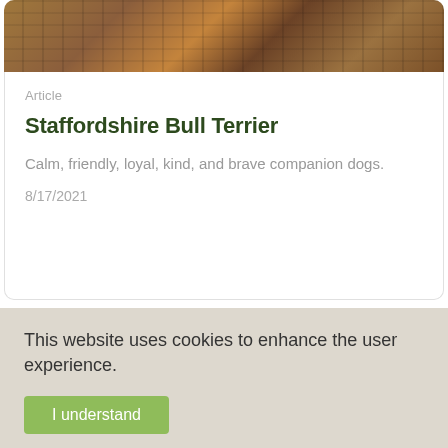[Figure (photo): Top photo showing stacked logs with brown bark texture, partially visible at top of card]
Article
Staffordshire Bull Terrier
Calm, friendly, loyal, kind, and brave companion dogs.
8/17/2021
[Figure (photo): Outdoor nature scene with trees, water/river in background, and a dog (appears to be a husky) standing in a forest clearing]
This website uses cookies to enhance the user experience.
I understand